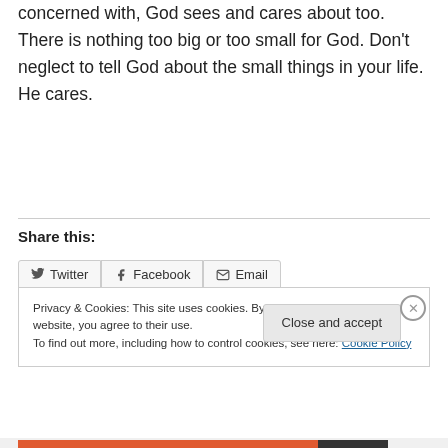concerned with, God sees and cares about too. There is nothing too big or too small for God. Don't neglect to tell God about the small things in your life. He cares.
Share this:
Twitter  Facebook  Email
Privacy & Cookies: This site uses cookies. By continuing to use this website, you agree to their use.
To find out more, including how to control cookies, see here: Cookie Policy
Close and accept